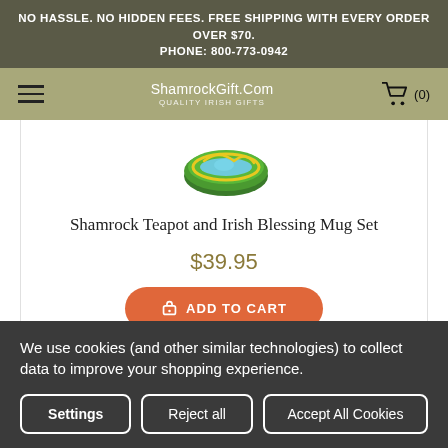NO HASSLE. NO HIDDEN FEES. FREE SHIPPING WITH EVERY ORDER OVER $70.
PHONE: 800-773-0942
[Figure (logo): ShamrockGift.Com navigation bar with hamburger menu, logo, and shopping cart icon showing (0) items]
[Figure (photo): Partial view of a colorful shamrock-themed teapot/mug with green and yellow design on white background]
Shamrock Teapot and Irish Blessing Mug Set
$39.95
ADD TO CART
We use cookies (and other similar technologies) to collect data to improve your shopping experience.
Settings | Reject all | Accept All Cookies